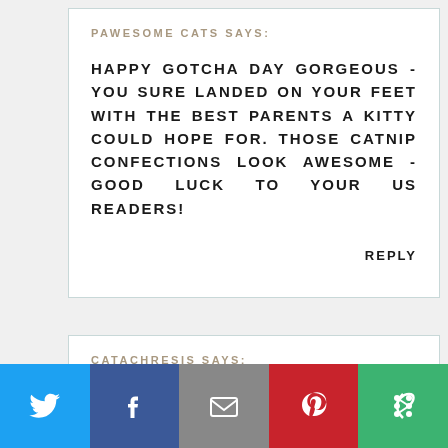PAWESOME CATS SAYS:
HAPPY GOTCHA DAY GORGEOUS - YOU SURE LANDED ON YOUR FEET WITH THE BEST PARENTS A KITTY COULD HOPE FOR. THOSE CATNIP CONFECTIONS LOOK AWESOME - GOOD LUCK TO YOUR US READERS!
REPLY
CATACHRESIS SAYS:
HAPPY GOTCHA DAY, CK. YOU ARE ONE